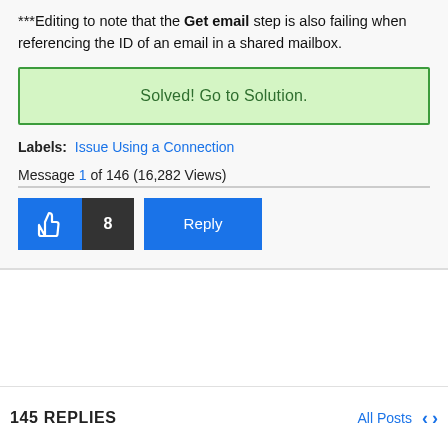***Editing to note that the Get email step is also failing when referencing the ID of an email in a shared mailbox.
Solved! Go to Solution.
Labels: Issue Using a Connection
Message 1 of 146 (16,282 Views)
8 Reply
145 REPLIES   All Posts < >